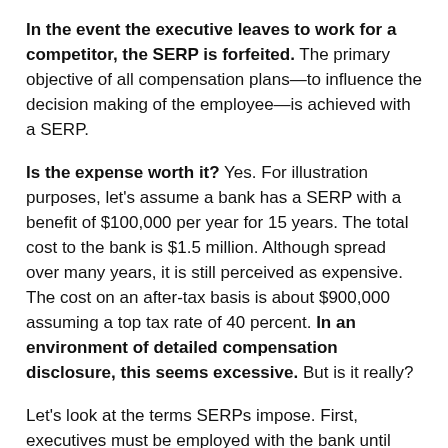In the event the executive leaves to work for a competitor, the SERP is forfeited. The primary objective of all compensation plans—to influence the decision making of the employee—is achieved with a SERP.
Is the expense worth it? Yes. For illustration purposes, let's assume a bank has a SERP with a benefit of $100,000 per year for 15 years. The total cost to the bank is $1.5 million. Although spread over many years, it is still perceived as expensive. The cost on an after-tax basis is about $900,000 assuming a top tax rate of 40 percent. In an environment of detailed compensation disclosure, this seems excessive. But is it really?
Let's look at the terms SERPs impose. First, executives must be employed with the bank until retirement. The bank is the guarantor of the benefit, not a third party as in the case of a 401(k) plan or a pension plan. For rank and